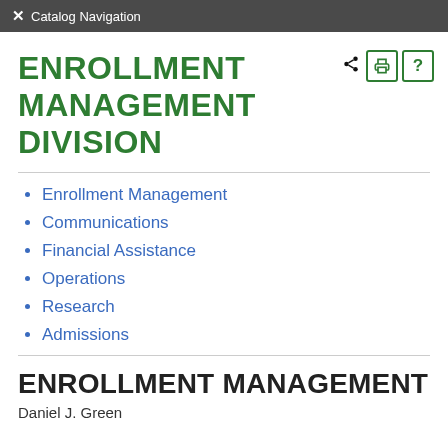Catalog Navigation
ENROLLMENT MANAGEMENT DIVISION
Enrollment Management
Communications
Financial Assistance
Operations
Research
Admissions
ENROLLMENT MANAGEMENT
Daniel J. Green